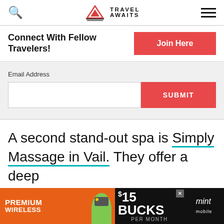Travel Awaits
Connect With Fellow Travelers!
Email Address
SUBMIT
A second stand-out spa is Simply Massage in Vail. They offer a deep tissue massage that uses CBD salve
$40
[Figure (screenshot): Mint Mobile advertisement banner: PREMIUM WIRELESS $15 BUCKS PER MONTH with animated character]